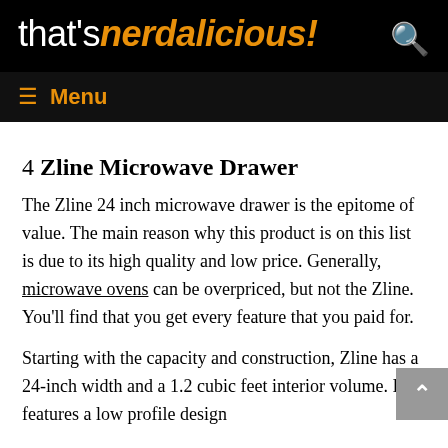that's nerdalicious!
4 Zline Microwave Drawer
The Zline 24 inch microwave drawer is the epitome of value. The main reason why this product is on this list is due to its high quality and low price. Generally, microwave ovens can be overpriced, but not the Zline. You'll find that you get every feature that you paid for.
Starting with the capacity and construction, Zline has a 24-inch width and a 1.2 cubic feet interior volume. It features a low profile design